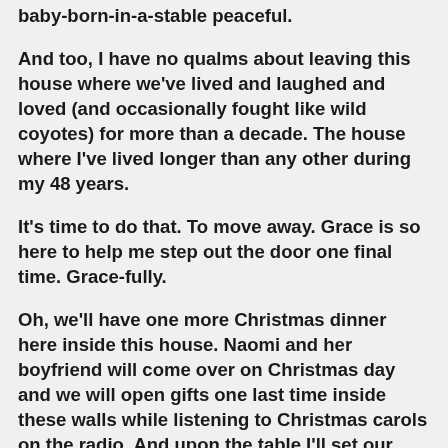baby-born-in-a-stable peaceful.
And too, I have no qualms about leaving this house where we've lived and laughed and loved (and occasionally fought like wild coyotes) for more than a decade. The house where I've lived longer than any other during my 48 years.
It's time to do that. To move away. Grace is so here to help me step out the door one final time. Grace-fully.
Oh, we'll have one more Christmas dinner here inside this house. Naomi and her boyfriend will come over on Christmas day and we will open gifts one last time inside these walls while listening to Christmas carols on the radio. And upon the table I'll set our Christmas plates and the holly tablecloth and red plaid napkins. And our gold grapevine Christmas tree will stand tall at the table's end, in front of the middle window where it's always stood before.
And in our hearts we'll say good-bye to this home which